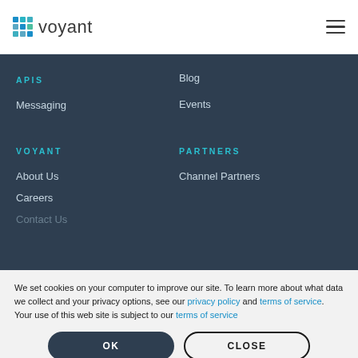voyant (logo with hamburger menu)
APIs
Messaging
Blog
Events
VOYANT
PARTNERS
About Us
Channel Partners
Careers
Contact Us
We set cookies on your computer to improve our site. To learn more about what data we collect and your privacy options, see our privacy policy and terms of service. Your use of this web site is subject to our terms of service
OK | CLOSE